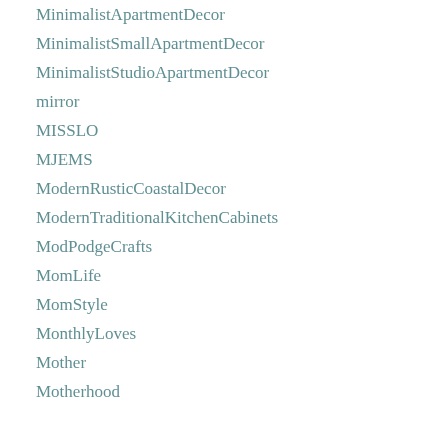MinimalistApartmentDecor
MinimalistSmallApartmentDecor
MinimalistStudioApartmentDecor
mirror
MISSLO
MJEMS
ModernRusticCoastalDecor
ModernTraditionalKitchenCabinets
ModPodgeCrafts
MomLife
MomStyle
MonthlyLoves
Mother
Motherhood